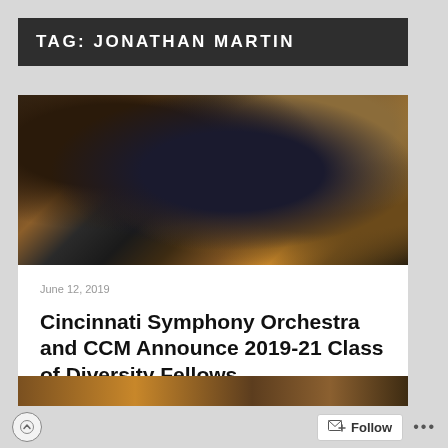TAG: JONATHAN MARTIN
[Figure (photo): Orchestra musician playing double bass, close-up shot showing the musician leaning into the instrument, with other musicians visible in the background.]
June 12, 2019
Cincinnati Symphony Orchestra and CCM Announce 2019-21 Class of Diversity Fellows
[Figure (photo): Partial view of a second orchestra photo, cropped at bottom of page.]